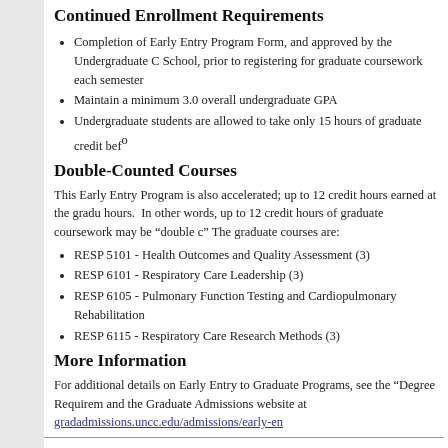Continued Enrollment Requirements
Completion of Early Entry Program Form, and approved by the Undergraduate C School, prior to registering for graduate coursework each semester
Maintain a minimum 3.0 overall undergraduate GPA
Undergraduate students are allowed to take only 15 hours of graduate credit before
Double-Counted Courses
This Early Entry Program is also accelerated; up to 12 credit hours earned at the gradu hours. In other words, up to 12 credit hours of graduate coursework may be “double c The graduate courses are:
RESP 5101 - Health Outcomes and Quality Assessment (3)
RESP 6101 - Respiratory Care Leadership (3)
RESP 6105 - Pulmonary Function Testing and Cardiopulmonary Rehabilitation
RESP 6115 - Respiratory Care Research Methods (3)
More Information
For additional details on Early Entry to Graduate Programs, see the “Degree Requirem and the Graduate Admissions website at gradadmissions.uncc.edu/admissions/early-en
For details about the full requirements for this degree program, see the program listing